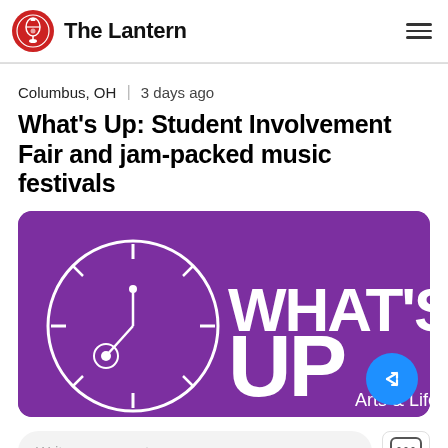The Lantern
Columbus, OH  |  3 days ago
What's Up: Student Involvement Fair and jam-packed music festivals
[Figure (illustration): Purple banner graphic with a clock/lantern icon on the left and 'WHAT'S UP Arts & Life' text in large white letters on a purple background.]
Write a comment...